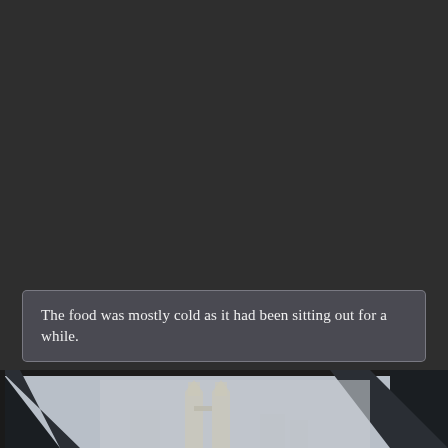[Figure (photo): Dark gray background filling the upper portion of the page, with a photograph visible at the bottom showing a city skyline viewed through a car or train window with diagonal structural bars visible, under an overcast sky.]
The food was mostly cold as it had been sitting out for a while.